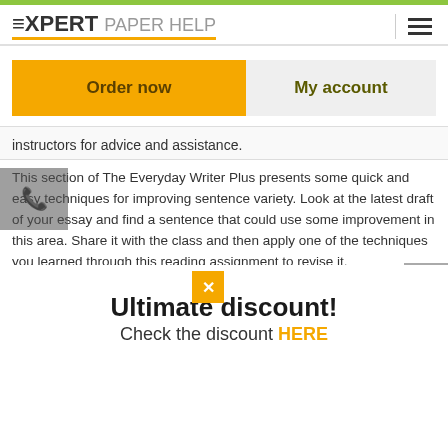EXPERT PAPER HELP
Order now
My account
instructors for advice and assistance.
This section of The Everyday Writer Plus presents some quick and easy techniques for improving sentence variety. Look at the latest draft of your essay and find a sentence that could use some improvement in this area. Share it with the class and then apply one of the techniques you learned through this reading assignment to revise it.
PARTICIPATION ONE
The sentence reads as follows, "to this community, immigration is not just an abstract concept, but as...
ULTIMATE DISCOUNT!
Check the discount HERE